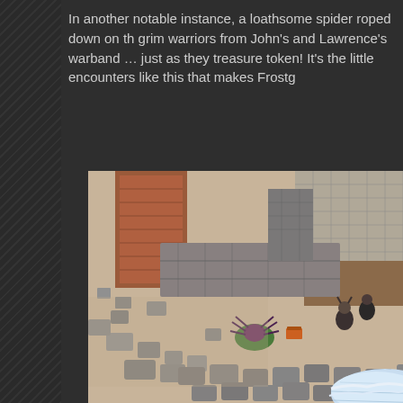In another notable instance, a loathsome spider roped down on th grim warriors from John's and Lawrence's warband … just as they treasure token! It's the little encounters like this that makes Frostg
[Figure (photo): Overhead angled photo of a Frostgrave tabletop miniature wargame scene showing ruined stone walls, rubble, small painted miniature figures including a spider creature and warriors, and a frozen water feature in the bottom right corner.]